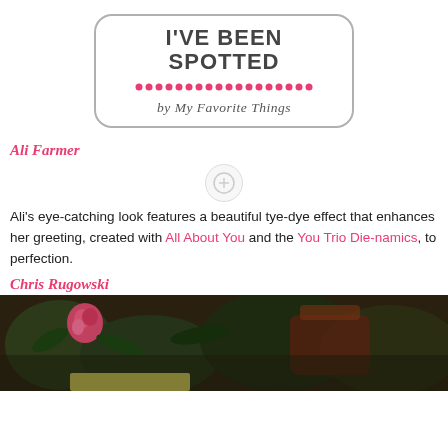[Figure (logo): I've Been Spotted by My Favorite Things logo in a rounded rectangle border]
Ali Farmer
[Figure (photo): Placeholder image area for Ali Farmer's card]
Ali's eye-catching look features a beautiful tye-dye effect that enhances her greeting, created with All About You and the You Trio Die-namics, to perfection.
Chris Rugowski
[Figure (photo): Photo of flowers and plants with a greeting card visible at the bottom]